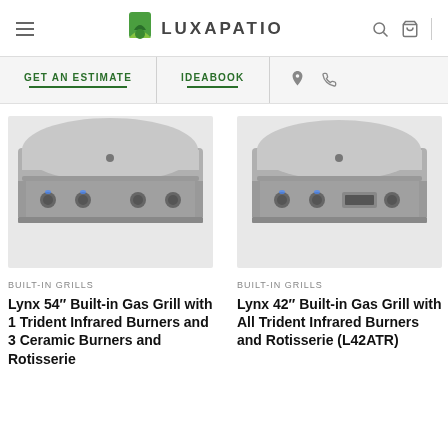Luxapatio — navigation header with menu, logo, search and cart icons
GET AN ESTIMATE | IDEABOOK | location icon | phone icon
[Figure (photo): Lynx 54 inch stainless steel built-in gas grill, closed lid, viewed from front, showing multiple control knobs]
[Figure (photo): Lynx 42 inch stainless steel built-in gas grill with All Trident infrared burners, closed lid, viewed from front, showing control knobs]
BUILT-IN GRILLS
Lynx 54″ Built-in Gas Grill with 1 Trident Infrared Burners and 3 Ceramic Burners and Rotisserie
BUILT-IN GRILLS
Lynx 42″ Built-in Gas Grill with All Trident Infrared Burners and Rotisserie (L42ATR)